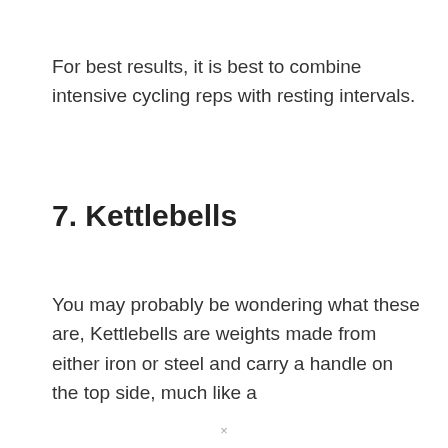For best results, it is best to combine intensive cycling reps with resting intervals.
7. Kettlebells
You may probably be wondering what these are, Kettlebells are weights made from either iron or steel and carry a handle on the top side, much like a